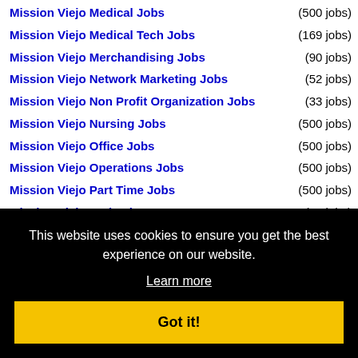Mission Viejo Medical Jobs (500 jobs)
Mission Viejo Medical Tech Jobs (169 jobs)
Mission Viejo Merchandising Jobs (90 jobs)
Mission Viejo Network Marketing Jobs (52 jobs)
Mission Viejo Non Profit Organization Jobs (33 jobs)
Mission Viejo Nursing Jobs (500 jobs)
Mission Viejo Office Jobs (500 jobs)
Mission Viejo Operations Jobs (500 jobs)
Mission Viejo Part Time Jobs (500 jobs)
Mission Viejo Perl Jobs (15 jobs)
Mission Viejo Pharmaceutical Jobs (59 jobs)
Mission Viejo Retail Sales Jobs (261 jobs)
This website uses cookies to ensure you get the best experience on our website. Learn more Got it!